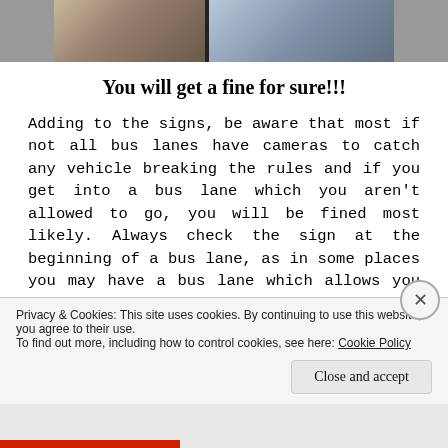[Figure (photo): Partial photo showing top of a street scene with building architecture and what appears to be a bus lane sign or pole]
You will get a fine for sure!!!
Adding to the signs, be aware that most if not all bus lanes have cameras to catch any vehicle breaking the rules and if you get into a bus lane which you aren't allowed to go, you will be fined most likely. Always check the sign at the beginning of a bus lane, as in some places you may have a bus lane which allows you to ride on it, but at the next bus lane you may not be allowed to ride in
Privacy & Cookies: This site uses cookies. By continuing to use this website, you agree to their use.
To find out more, including how to control cookies, see here: Cookie Policy
Close and accept